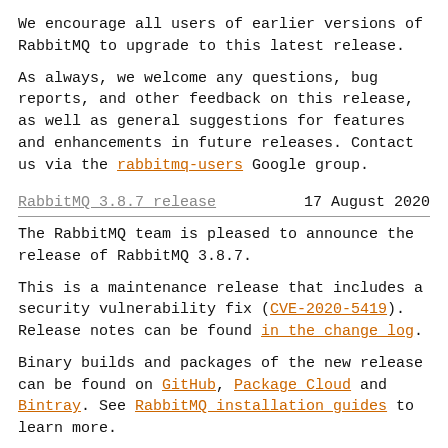We encourage all users of earlier versions of RabbitMQ to upgrade to this latest release.
As always, we welcome any questions, bug reports, and other feedback on this release, as well as general suggestions for features and enhancements in future releases. Contact us via the rabbitmq-users Google group.
RabbitMQ 3.8.7 release   17 August 2020
The RabbitMQ team is pleased to announce the release of RabbitMQ 3.8.7.
This is a maintenance release that includes a security vulnerability fix (CVE-2020-5419). Release notes can be found in the change log.
Binary builds and packages of the new release can be found on GitHub, Package Cloud and Bintray. See RabbitMQ installation guides to learn more.
We encourage all users of earlier versions of RabbitMQ to upgrade to this latest release.